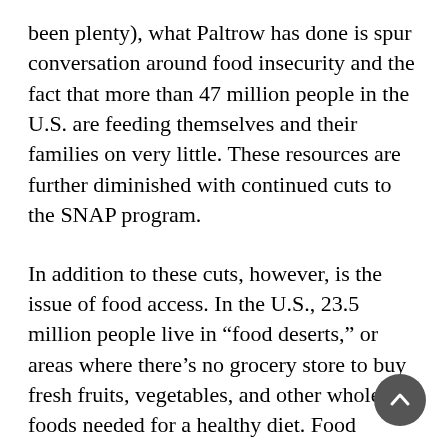been plenty), what Paltrow has done is spur conversation around food insecurity and the fact that more than 47 million people in the U.S. are feeding themselves and their families on very little. These resources are further diminished with continued cuts to the SNAP program.
In addition to these cuts, however, is the issue of food access. In the U.S., 23.5 million people live in “food deserts,” or areas where there’s no grocery store to buy fresh fruits, vegetables, and other whole foods needed for a healthy diet. Food deserts are typically located in low-income neighborhoods where fewer people can afford a vehicle.